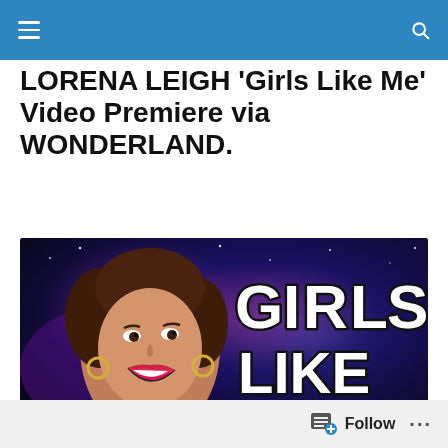LORENA LEIGH ‘Girls Like Me’ Video Premiere via WONDERLAND.
[Figure (photo): A smiling woman with curly brown hair and pink lipstick in front of a space-themed background with stylized text reading 'Girls Like Me']
Follow